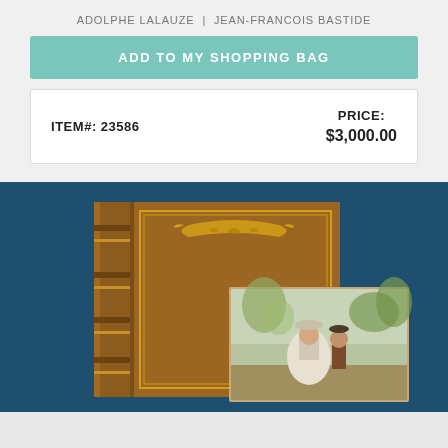ADOLPHE LALAUZE  |  JEAN-FRANCOIS BASTIDE
ADD TO MY SHOPPING BAG
| ITEM#: 23586 | PRICE:
$3,000.00 |
[Figure (photo): A brown leather-bound book with gold ornamental decoration on the cover and spine, displayed upright against a dark teal background. In front of it, an illustrated print shows an 18th-century scene with a woman in a white dress and a man in period costume outdoors.]